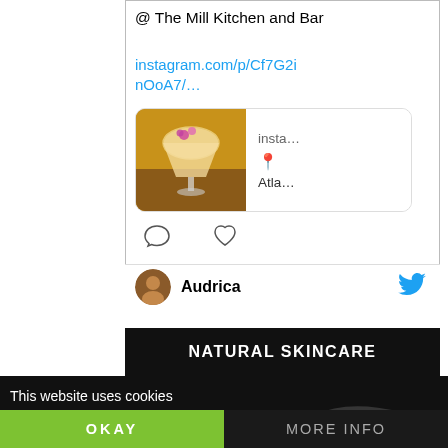@ The Mill Kitchen and Bar
instagram.com/p/Cf7G2inOoA7/…
[Figure (screenshot): Instagram preview card showing a cocktail drink photo with pink flowers, alongside 'insta...' title, red location pin icon, and 'Atla...' text]
[Figure (screenshot): Social card bottom row showing avatar, username 'Audrica', and Twitter bird icon]
NATURAL SKINCARE
This website uses cookies
OKAY
MORE INFO